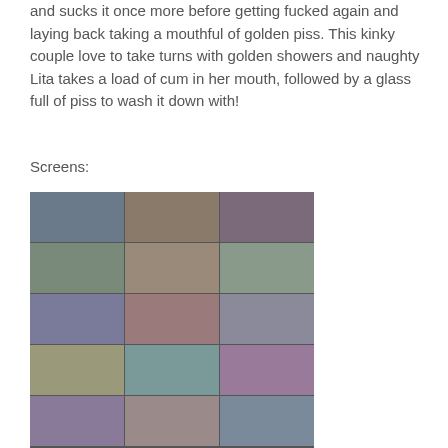and sucks it once more before getting fucked again and laying back taking a mouthful of golden piss. This kinky couple love to take turns with golden showers and naughty Lita takes a load of cum in her mouth, followed by a glass full of piss to wash it down with!
Screens:
[Figure (photo): A grid of video screenshot thumbnails arranged in approximately 5 rows and 3 columns, showing scenes from an adult video.]